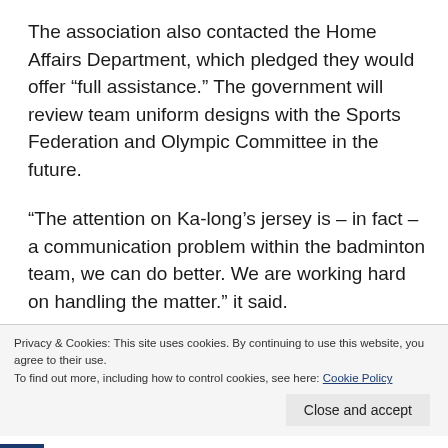The association also contacted the Home Affairs Department, which pledged they would offer “full assistance.” The government will review team uniform designs with the Sports Federation and Olympic Committee in the future.
“The attention on Ka-long’s jersey is – in fact – a communication problem within the badminton team, we can do better. We are working hard on handling the matter.” it said.
Privacy & Cookies: This site uses cookies. By continuing to use this website, you agree to their use.
To find out more, including how to control cookies, see here: Cookie Policy
Close and accept